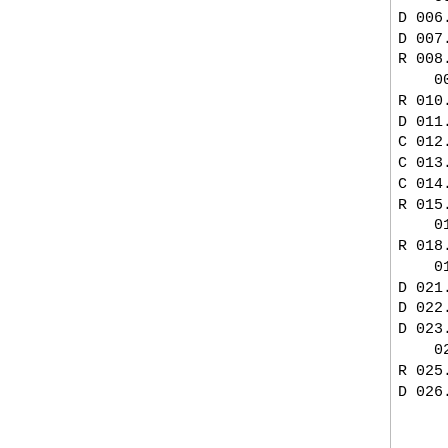| Type | Network Address | Flag | Name |
| --- | --- | --- | --- |
|  | 005.rrr.rrr.rrr |  | Unassigne |
| D | 006.rrr.rrr.rrr | T | YPG-NET- |
| D | 007.rrr.rrr.rrr | T | EDN-TEMP |
| R | 008.rrr.rrr.rrr | T | BBN-NET- |
|  | 009.rrr.rrr.rrr |  | Unassigne |
| R | 010.rrr.rrr.rrr |  | ARPANET |
| D | 011.rrr.rrr.rrr |  | DODIIS |
| C | 012.rrr.rrr.rrr |  | ATT |
| C | 013.rrr.rrr.rrr |  | XEROX-NET |
| C | 014.rrr.rrr.rrr |  | PDN |
| R | 015.rrr.rrr.rrr |  | HP-INTERN |
|  | 016.rrr.rrr.rrr-017.rrr.rr |  |  |
| R | 018.rrr.rrr.rrr | T | MIT-TEMP |
|  | 019.rrr.rrr.rrr-020.rrr.rr |  |  |
| D | 021.rrr.rrr.rrr |  | DDN-RVN |
| D | 022.rrr.rrr.rrr |  | DISNET |
| D | 023.rrr.rrr.rrr |  | DDN-TC-N |
|  | 024.rrr.rrr.rrr |  | Unassigne |
| R | 025.rrr.rrr.rrr |  | RSRE-EXP |
| D | 026.rrr.rrr.rrr |  | MILNET |